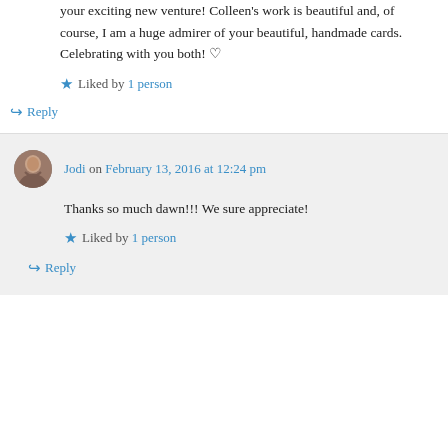your exciting new venture! Colleen's work is beautiful and, of course, I am a huge admirer of your beautiful, handmade cards. Celebrating with you both! ♡
Liked by 1 person
↪ Reply
Jodi on February 13, 2016 at 12:24 pm
Thanks so much dawn!!! We sure appreciate!
Liked by 1 person
↪ Reply